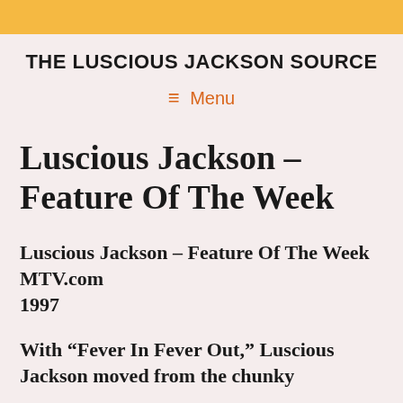THE LUSCIOUS JACKSON SOURCE
≡ Menu
Luscious Jackson – Feature Of The Week
Luscious Jackson – Feature Of The Week MTV.com
1997
With “Fever In Fever Out,” Luscious Jackson moved from the chunky